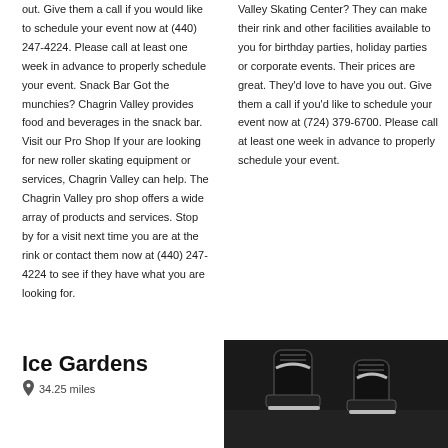out. Give them a call if you would like to schedule your event now at (440) 247-4224. Please call at least one week in advance to properly schedule your event. Snack Bar Got the munchies? Chagrin Valley provides food and beverages in the snack bar. Visit our Pro Shop If your are looking for new roller skating equipment or services, Chagrin Valley can help. The Chagrin Valley pro shop offers a wide array of products and services. Stop by for a visit next time you are at the rink or contact them now at (440) 247-4224 to see if they have what you are looking for.
Valley Skating Center? They can make their rink and other facilities available to you for birthday parties, holiday parties or corporate events. Their prices are great. They'd love to have you out. Give them a call if you'd like to schedule your event now at (724) 379-6700. Please call at least one week in advance to properly schedule your event.
Ice Gardens
34.25 miles
[Figure (photo): Black and white photo of ice skates, showing a skate boot and blade close-up on ice]